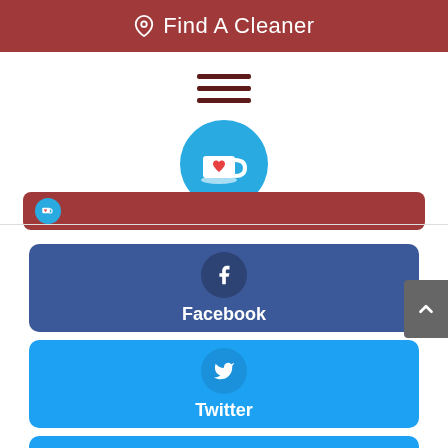Find A Cleaner
[Figure (screenshot): Hamburger menu icon (three horizontal dark red lines) and a Ko-fi circle icon (blue circle with white mug and red heart) with a partially visible Ko-fi donate button below]
[Figure (screenshot): Facebook social share button - dark blue rounded rectangle with Facebook 'f' icon circle and bold white 'Facebook' label]
[Figure (screenshot): Twitter social share button - light blue rounded rectangle with Twitter bird icon circle and bold white 'Twitter' label]
[Figure (screenshot): Partial blue social button visible at bottom edge]
[Figure (screenshot): Gray scroll-to-top button with upward chevron on right edge]